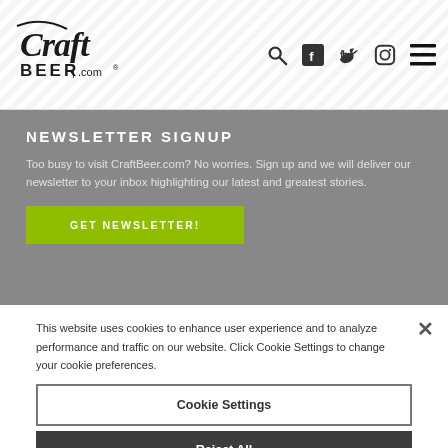[Figure (logo): CraftBeer.com logo with search, social media icons (Facebook, Twitter, Instagram), and hamburger menu]
NEWSLETTER SIGNUP
Too busy to visit CraftBeer.com? No worries. Sign up and we will deliver our newsletter to your inbox highlighting our latest and greatest stories.
GET NEWSLETTER!
This website uses cookies to enhance user experience and to analyze performance and traffic on our website. Click Cookie Settings to change your cookie preferences.
Cookie Settings
Reject All
Accept All Cookies